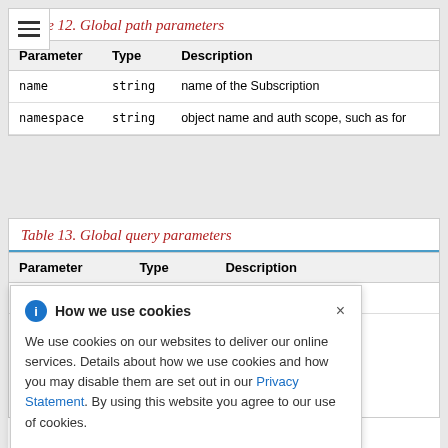Table 12. Global path parameters
| Parameter | Type | Description |
| --- | --- | --- |
| name | string | name of the Subscription |
| namespace | string | object name and auth scope, such as for |
Table 13. Global query parameters
| Parameter | Type | Description |
| --- | --- | --- |
|  |  | s pretty printed. |
How we use cookies
We use cookies on our websites to deliver our online services. Details about how we use cookies and how you may disable them are set out in our Privacy Statement. By using this website you agree to our use of cookies.
Description